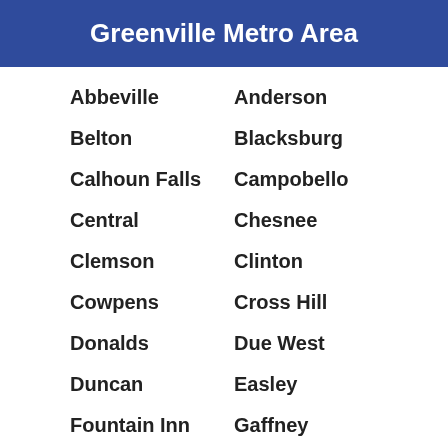Greenville Metro Area
Abbeville
Anderson
Belton
Blacksburg
Calhoun Falls
Campobello
Central
Chesnee
Clemson
Clinton
Cowpens
Cross Hill
Donalds
Due West
Duncan
Easley
Fountain Inn
Gaffney
Gray Court
Greenville
Greenwood
Greer
Hodges
Honea Path